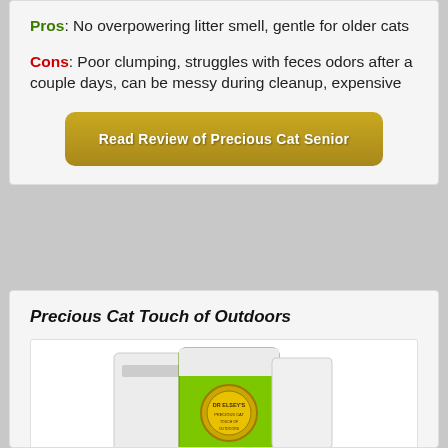Pros: No overpowering litter smell, gentle for older cats
Cons: Poor clumping, struggles with feces odors after a couple days, can be messy during cleanup, expensive
Read Review of Precious Cat Senior
Precious Cat Touch of Outdoors
[Figure (photo): Product photo of Dr. Elsey's Precious Cat Touch of Outdoors cat litter bags, white and green packaging]